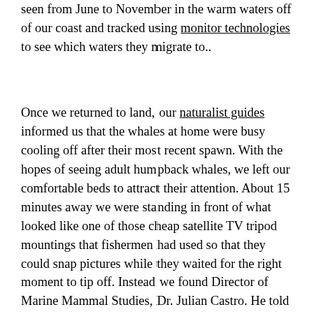seen from June to November in the warm waters off of our coast and tracked using monitor technologies to see which waters they migrate to..
Once we returned to land, our naturalist guides informed us that the whales at home were busy cooling off after their most recent spawn. With the hopes of seeing adult humpback whales, we left our comfortable beds to attract their attention. About 15 minutes away we were standing in front of what looked like one of those cheap satellite TV tripod mountings that fishermen had used so that they could snap pictures while they waited for the right moment to tip off. Instead we found Director of Marine Mammal Studies, Dr. Julian Castro. He told us that we had more than enough time to see the mother and baby humpback whales. The marine pathway, also known as the Ring of Fire, stretches for miles all along the western coast of Australia. This stretch of coastline was formed by volcanoes and volcanic reefs and extends from the